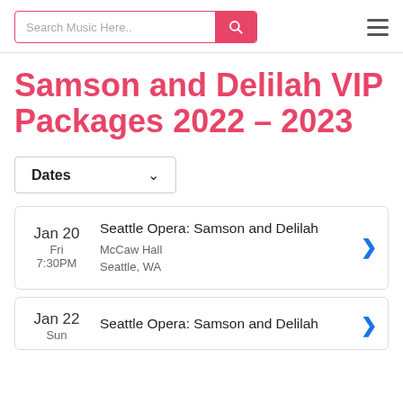Search Music Here..
Samson and Delilah VIP Packages 2022 - 2023
Dates ▾
Jan 20 Fri 7:30PM — Seattle Opera: Samson and Delilah — McCaw Hall, Seattle, WA
Jan 22 Sun — Seattle Opera: Samson and Delilah